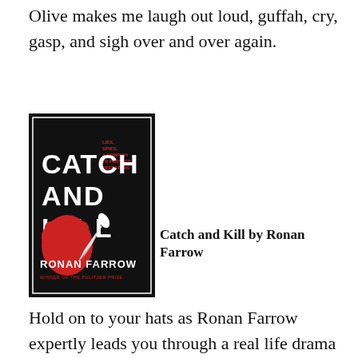Olive makes me laugh out loud, guffah, cry, gasp, and sigh over and over again.
[Figure (illustration): Book cover of 'Catch and Kill' by Ronan Farrow — black background with bold white text 'CATCH AND KILL', red graphic of a hand gripping a white feather/quill, smaller subtitle text in red, and author name 'RONAN FARROW' at the bottom.]
Catch and Kill by Ronan Farrow
Hold on to your hats as Ronan Farrow expertly leads you through a real life drama that seriously reads as “stranger than fiction.” Farrow shares the saga of researching and breaking the Harvery Weinstein story, as well as the layers of complicity and cover-up that kept him safe for way too long. As we demand consequences of powerful men who